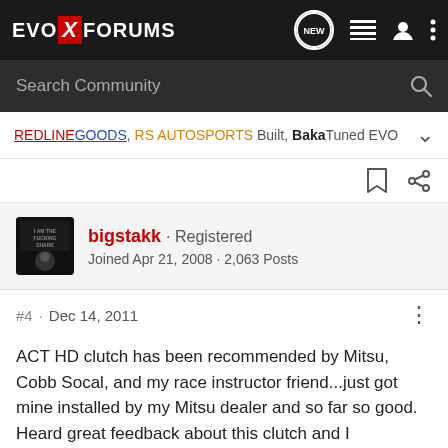EVO X FORUMS
Search Community
REDLINEGOODS, RS AUTOSPORTS Built, BakaTuned EVO
[Figure (screenshot): User avatar for bigstakk, dark square avatar image]
bigstakk · Registered
Joined Apr 21, 2008 · 2,063 Posts
#4 · Dec 14, 2011
ACT HD clutch has been recommended by Mitsu, Cobb Socal, and my race instructor friend...just got mine installed by my Mitsu dealer and so far so good. Heard great feedback about this clutch and I recommend it. GL!